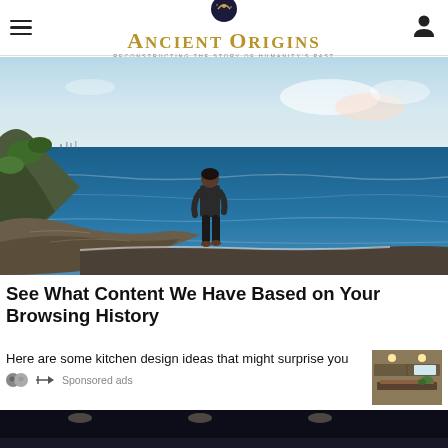Ancient Origins — Reconstructing the Story of Humanity's Past
[Figure (photo): A person standing on a rocky coastal cliff overlooking a deep blue ocean with a city skyline faintly visible in the distance under a clear sky.]
See What Content We Have Based on Your Browsing History
Here are some kitchen design ideas that might surprise you
Sponsored ads
[Figure (photo): A thumbnail image of a kitchen interior with wooden countertops and modern design.]
[Figure (photo): A dark interior image at the bottom of the page — partial view.]